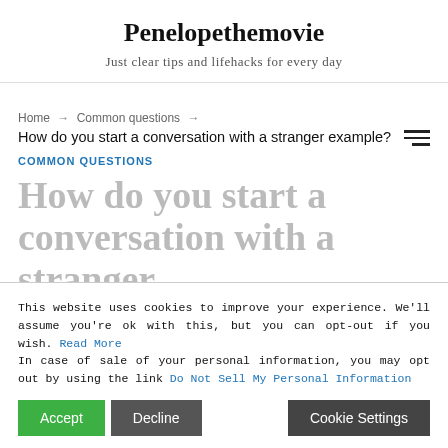Penelopethemovie
Just clear tips and lifehacks for every day
Home → Common questions →
How do you start a conversation with a stranger example?
COMMON QUESTIONS
How do you start a conversation with a stranger example?
This website uses cookies to improve your experience. We'll assume you're ok with this, but you can opt-out if you wish. Read More
In case of sale of your personal information, you may opt out by using the link Do Not Sell My Personal Information